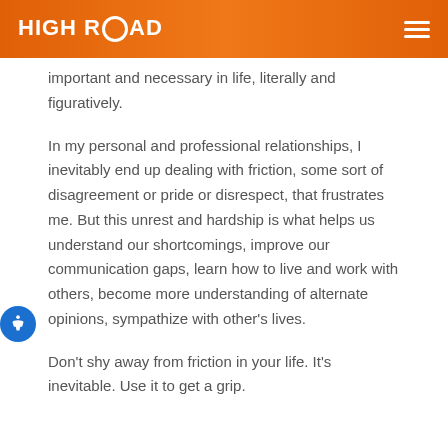HIGH ROAD
important and necessary in life, literally and figuratively.
In my personal and professional relationships, I inevitably end up dealing with friction, some sort of disagreement or pride or disrespect, that frustrates me. But this unrest and hardship is what helps us understand our shortcomings, improve our communication gaps, learn how to live and work with others, become more understanding of alternate opinions, sympathize with other's lives.
Don't shy away from friction in your life. It's inevitable. Use it to get a grip.